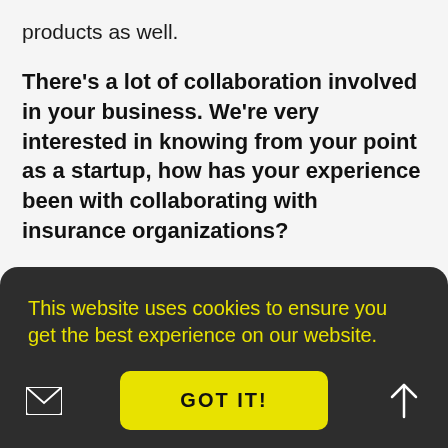products as well.
There's a lot of collaboration involved in your business. We're very interested in knowing from your point as a startup, how has your experience been with collaborating with insurance organizations?
Everyone knows collaborating with insurance companies is a battle. No one
This website uses cookies to ensure you get the best experience on our website.
GOT IT!